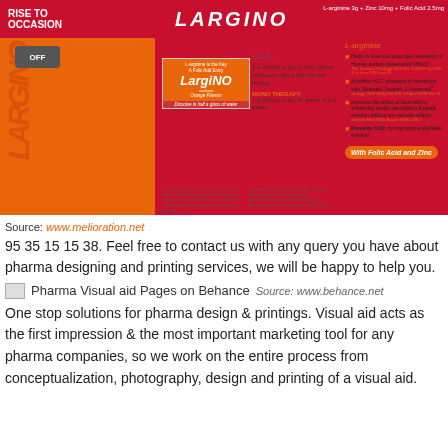[Figure (photo): Largino pharmaceutical product advertisement showing a medicine sachet package, chain links, and product benefits for L-arginine, Zinc, and Folic Acid supplement]
Source: www.melioration.net
95 35 15 15 38. Feel free to contact us with any query you have about pharma designing and printing services, we will be happy to help you.
Pharma Visual aid Pages on Behance   Source: www.behance.net
One stop solutions for pharma design & printings. Visual aid acts as the first impression & the most important marketing tool for any pharma companies, so we work on the entire process from conceptualization, photography, design and printing of a visual aid.